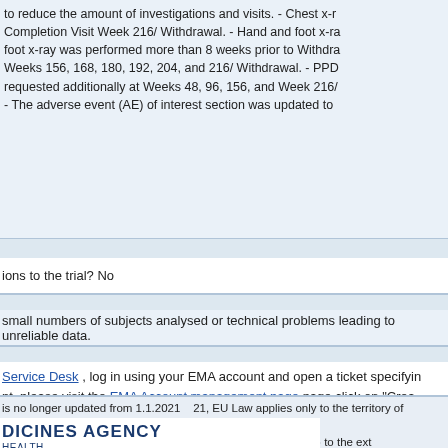| to reduce the amount of investigations and visits. - Chest x-ray: Completion Visit Week 216/ Withdrawal. - Hand and foot x-ray: foot x-ray was performed more than 8 weeks prior to Withdrawal Weeks 156, 168, 180, 192, 204, and 216/ Withdrawal. - PPD requested additionally at Weeks 48, 96, 156, and Week 216/ - The adverse event (AE) of interest section was updated to |
ions to the trial? No
small numbers of subjects analysed or technical problems leading to unreliable data.
Service Desk , log in using your EMA account and open a ticket specifying
nt, please visit the EMA Account management page page click on "Crea
is no longer updated from 1.1.2021
21, EU Law applies only to the territory of Northern Ireland (NI) to the ext
Service Desk: https://servicedesk.ema.europa.eu
y © 1995-2022 | Domenico Scarlattilaan 6, 1083 HS Amsterdam, The Ne
[Figure (logo): MEDICINES AGENCY / HEALTH logo in dark blue]